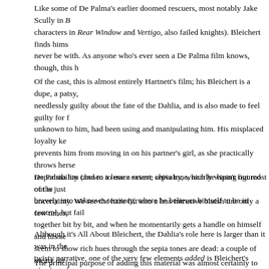Like some of De Palma's earlier doomed rescuers, most notably Jake Scully in B... characters in Rear Window and Vertigo, also failed knights). Bleichert finds hims... never be with. As anyone who's ever seen a De Palma film knows, though, this h...
Of the cast, this is almost entirely Hartnett's film; his Bleichert is a dupe, a patsy,... needlessly guilty about the fate of the Dahlia, and is also made to feel guilty for f... unknown to him, had been using and manipulating him. His misplaced loyalty ke... prevents him from moving in on his partner's girl, as she practically throws herse... responsibility (and to a lesser extent, chivalry, which he hasn't figured out is just... bravely into unknown territory, where he believes himself to be in control, but fail...
De Palma has chosen to use a severe sepia tone, nearly wiping out most of the... uncertainty. We see the haze lift into a less intrusive bluish tint only a few times,... together bit by bit, and when he momentarily gets a handle on himself and his se... seem to show rich hues through the sepia tones are dead: a couple of meaty dir... shopkeeper and his child. We are to understand, I think, that Bleichert's obsessio... picture, nearly all the time. I'll give you three guesses whether the film ends in se...
Although it's All About Bleichert, the Dahlia's role here is larger than it was in the... twisty narrative, one of the very few elements added is Bleichert's viewing of a s... as she appeared in life, as herself: vulnerable, and all-too-eager to please the of... and condescendingly by De Palma himself). Through this screentest, we come t... girl who seems to live in a world of lies she's constructed around herself...as doe...
The principal purpose of adding this material was almost certainly to give the au...